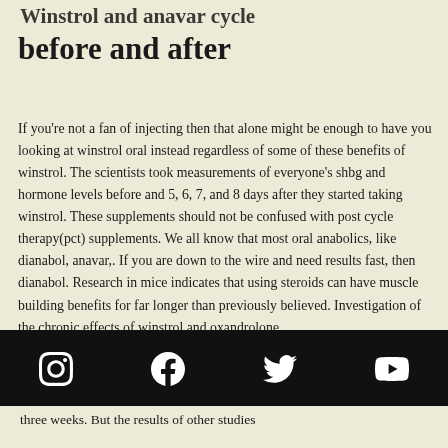before and after
If you're not a fan of injecting then that alone might be enough to have you looking at winstrol oral instead regardless of some of these benefits of winstrol. The scientists took measurements of everyone's shbg and hormone levels before and 5, 6, 7, and 8 days after they started taking winstrol. These supplements should not be confused with post cycle therapy(pct) supplements. We all know that most oral anabolics, like dianabol, anavar,. If you are down to the wire and need results fast, then dianabol. Research in mice indicates that using steroids can have muscle building benefits for far longer than previously believed. Investigation of the chronic effects of winstrol and oxandrolone
three weeks. But the results of other studies